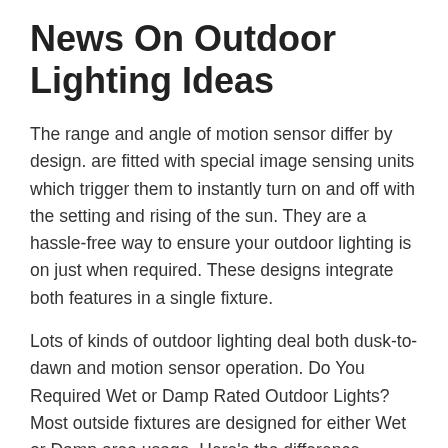News On Outdoor Lighting Ideas
The range and angle of motion sensor differ by design. are fitted with special image sensing units which trigger them to instantly turn on and off with the setting and rising of the sun. They are a hassle-free way to ensure your outdoor lighting is on just when required. These designs integrate both features in a single fixture.
Lots of kinds of outdoor lighting deal both dusk-to-dawn and motion sensor operation. Do You Required Wet or Damp Rated Outdoor Lights? Most outside fixtures are designed for either Wet or Damp area usage. Here's the difference between the two: (or Wet Location) components are designed for usage anywhere that's straight exposed to wind and rain.